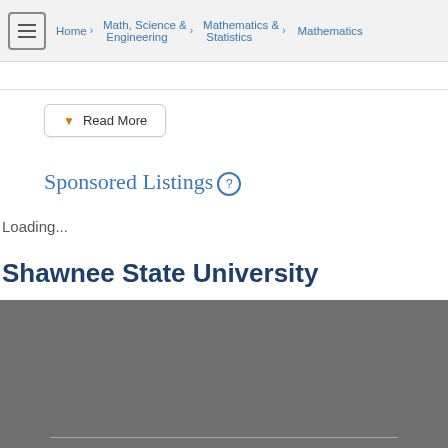Home > Math, Science & Engineering > Mathematics & Statistics > Mathematics
Read More
Sponsored Listings
Loading...
Shawnee State University